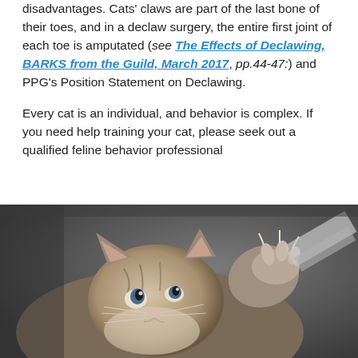disadvantages. Cats' claws are part of the last bone of their toes, and in a declaw surgery, the entire first joint of each toe is amputated (see The Effects of Declawing, BARKS from the Guild, March 2017, pp.44-47:) and PPG's Position Statement on Declawing.
Every cat is an individual, and behavior is complex. If you need help training your cat, please seek out a qualified feline behavior professional
[Figure (photo): Close-up photo of a tabby cat looking upward with paw raised, claws visible, against a dark background with a light-colored object to the right.]